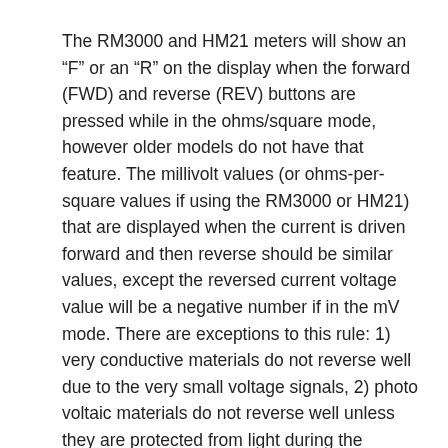The RM3000 and HM21 meters will show an “F” or an “R” on the display when the forward (FWD) and reverse (REV) buttons are pressed while in the ohms/square mode, however older models do not have that feature. The millivolt values (or ohms-per-square values if using the RM3000 or HM21) that are displayed when the current is driven forward and then reverse should be similar values, except the reversed current voltage value will be a negative number if in the mV mode. There are exceptions to this rule: 1) very conductive materials do not reverse well due to the very small voltage signals, 2) photo voltaic materials do not reverse well unless they are protected from light during the measurement. Poor correlation between the millivolt values when the current is driven forward and